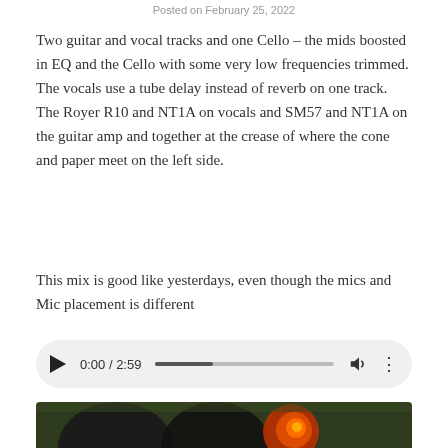Posted on February 25, 2022
Two guitar and vocal tracks and one Cello – the mids boosted in EQ and the Cello with some very low frequencies trimmed. The vocals use a tube delay instead of reverb on one track. The Royer R10 and NT1A on vocals and SM57 and NT1A on the guitar amp and together at the crease of where the cone and paper meet on the left side.
This mix is good like yesterdays, even though the mics and Mic placement is different
[Figure (screenshot): Audio player showing 0:00 / 2:59 with play button, progress bar, volume and more options icons]
[Figure (photo): Dark photo showing silhouettes and a glowing orange object, possibly a music recording or performance scene]